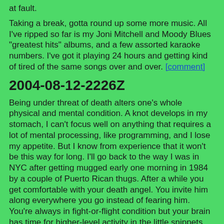at fault.
Taking a break, gotta round up some more music. All I've ripped so far is my Joni Mitchell and Moody Blues "greatest hits" albums, and a few assorted karaoke numbers. I've got it playing 24 hours and getting kind of tired of the same songs over and over. [comment]
2004-08-12-2226Z
Being under threat of death alters one's whole physical and mental condition. A knot develops in my stomach, I can't focus well on anything that requires a lot of mental processing, like programming, and I lose my appetite. But I know from experience that it won't be this way for long. I'll go back to the way I was in NYC after getting mugged early one morning in 1984 by a couple of Puerto Rican thugs. After a while you get comfortable with your death angel. You invite him along everywhere you go instead of fearing him. You're always in fight-or-flight condition but your brain has time for higher-level activity in the little snippets afforded to it during the day.
I've never studied terrorism, but my guess is that its primary purpose is to choke off the economic productivity of its